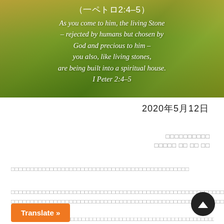[Figure (photo): Background photo of green grass and yellow flowers with warm golden-green tones]
（一ペトロ2:4–5）
As you come to him, the living Stone – rejected by humans but chosen by God and precious to him – you also, like living stones, are being built into a spiritual house. I Peter 2:4–5
2020年5月12日
□□□□□□□□□□
□□□□□ □□ □□ □□
□□□□□□□□□□□□□□□□□□□□□□□□□□□□□□□□□□□□□□□□□□
□□□□□□□□□□□□□□□□□□□□□□□□□□□□□□□□□□□□□□□□□□□□□□□□□□□□□□□□□□□□□□□□□□□□□□□□□□□□□□□□□□□□□□□□□□□□
□□□□□□□□□□□□□□□□□□□□□□□□□□□□□□□□□□□□□□□□□□□□□□□□□□□□□□□□□□□□□□□□□□□□□□□□□□□□□□□□□□□□□□□□□□□□□□
Translate »